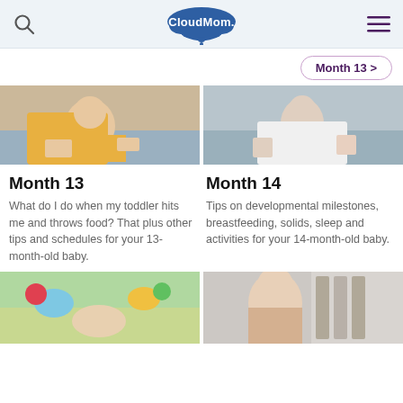CloudMom
Month 13 >
[Figure (photo): A woman in a yellow top holding a baby's hands, seated in a grey chair]
[Figure (photo): A toddler in a white outfit sitting on a grey chair, adult visible in background]
Month 13
What do I do when my toddler hits me and throws food? That plus other tips and schedules for your 13-month-old baby.
Month 14
Tips on developmental milestones, breastfeeding, solids, sleep and activities for your 14-month-old baby.
[Figure (photo): Colorful baby play mat with hanging toys and an infant]
[Figure (photo): Smiling blonde woman seated, bookshelves in background]